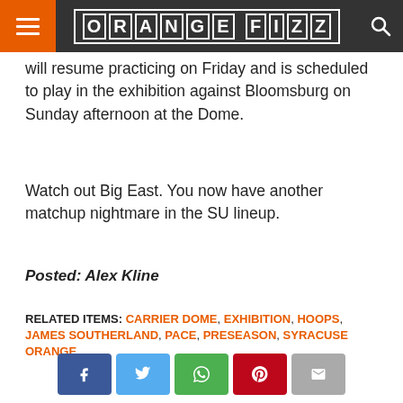ORANGE FIZZ
will resume practicing on Friday and is scheduled to play in the exhibition against Bloomsburg on Sunday afternoon at the Dome.
Watch out Big East. You now have another matchup nightmare in the SU lineup.
Posted: Alex Kline
RELATED ITEMS: CARRIER DOME, EXHIBITION, HOOPS, JAMES SOUTHERLAND, PACE, PRESEASON, SYRACUSE ORANGE
[Figure (other): Social share buttons: Facebook, Twitter, WhatsApp, Pinterest, Email]